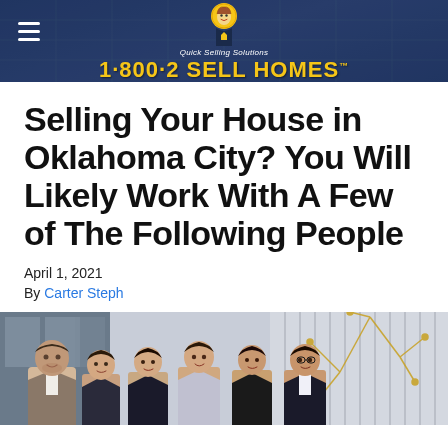1·800·2 SELL HOMES — Quick Selling Solutions
Selling Your House in Oklahoma City? You Will Likely Work With A Few of The Following People
April 1, 2021
By Carter Steph
[Figure (photo): Group photo of six real estate professionals — four women and two men — posed together in a modern office setting with decorative gold branch art in the background.]